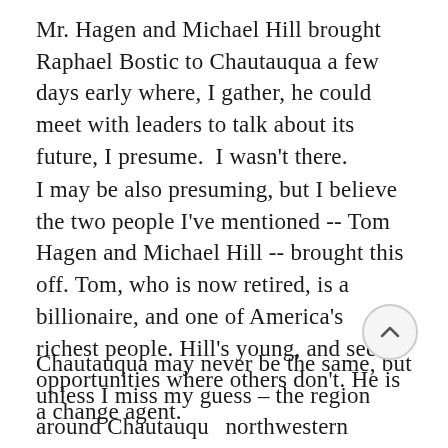Mr. Hagen and Michael Hill brought Raphael Bostic to Chautauqua a few days early where, I gather, he could meet with leaders to talk about its future, I presume.  I wasn't there.
I may be also presuming, but I believe the two people I've mentioned -- Tom Hagen and Michael Hill -- brought this off. Tom, who is now retired, is a billionaire, and one of America's richest people. Hill's young, and sees opportunities where others don't. He is a change agent.
Chautauqua may never be the same, but unless I miss my guess – the region around Chautauqu northwestern Pennsylvania a southwestern New York, still have an important role to play.